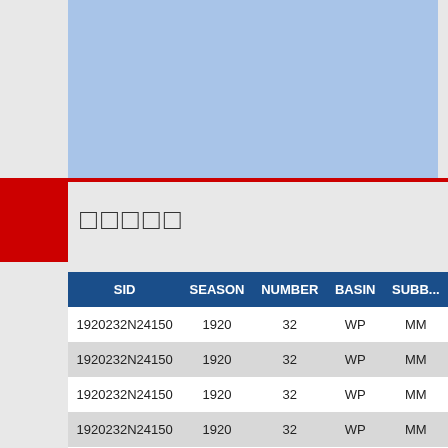[Figure (other): Light blue rectangular area representing an image or map placeholder at the top of the page]
□□□□□
| SID | SEASON | NUMBER | BASIN | SUBB... |
| --- | --- | --- | --- | --- |
| 1920232N24150 | 1920 | 32 | WP | MM |
| 1920232N24150 | 1920 | 32 | WP | MM |
| 1920232N24150 | 1920 | 32 | WP | MM |
| 1920232N24150 | 1920 | 32 | WP | MM |
| 1920232N24150 | 1920 | 32 | WP | MM |